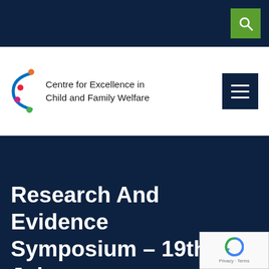[Figure (logo): Centre for Excellence in Child and Family Welfare logo with stylized letter C and i with coloured dots]
Centre for Excellence in Child and Family Welfare
Research And Evidence Symposium – 19th July